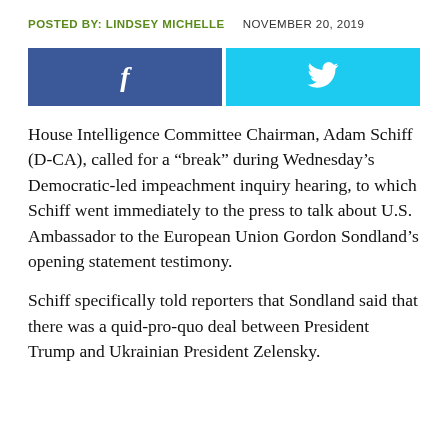POSTED BY: LINDSEY MICHELLE    NOVEMBER 20, 2019
[Figure (infographic): Social sharing buttons: Facebook (blue) and Twitter (cyan)]
House Intelligence Committee Chairman, Adam Schiff (D-CA), called for a “break” during Wednesday’s Democratic-led impeachment inquiry hearing, to which Schiff went immediately to the press to talk about U.S. Ambassador to the European Union Gordon Sondland’s opening statement testimony.
Schiff specifically told reporters that Sondland said that there was a quid-pro-quo deal between President Trump and Ukrainian President Zelensky.